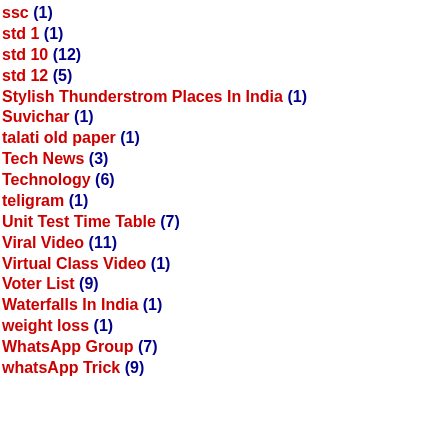ssc (1)
std 1 (1)
std 10 (12)
std 12 (5)
Stylish Thunderstrom Places In India (1)
Suvichar (1)
talati old paper (1)
Tech News (3)
Technology (6)
teligram (1)
Unit Test Time Table (7)
Viral Video (11)
Virtual Class Video (1)
Voter List (9)
Waterfalls In India (1)
weight loss (1)
WhatsApp Group (7)
whatsApp Trick (9)